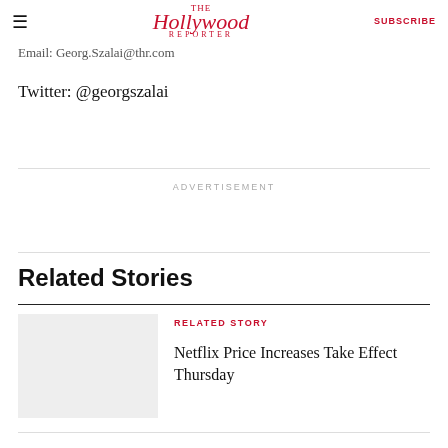The Hollywood Reporter | SUBSCRIBE
Email: Georg.Szalai@thr.com
Twitter: @georgszalai
ADVERTISEMENT
Related Stories
RELATED STORY
Netflix Price Increases Take Effect Thursday